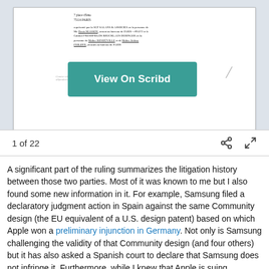[Figure (screenshot): Scribd document preview showing a French legal document with address '7 place d'Iéna, 75116 PARIS' and representative information, with a teal 'View On Scribd' button overlay, and a pagination bar showing '1 of 22' with share and expand icons.]
A significant part of the ruling summarizes the litigation history between those two parties. Most of it was known to me but I also found some new information in it. For example, Samsung filed a declaratory judgment action in Spain against the same Community design (the EU equivalent of a U.S. design patent) based on which Apple won a preliminary injunction in Germany. Not only is Samsung challenging the validity of that Community design (and four others) but it has also asked a Spanish court to declare that Samsung does not infringe it. Furthermore, while I knew that Apple is suing Motorola or Samsung on a patent that also applies in multiple